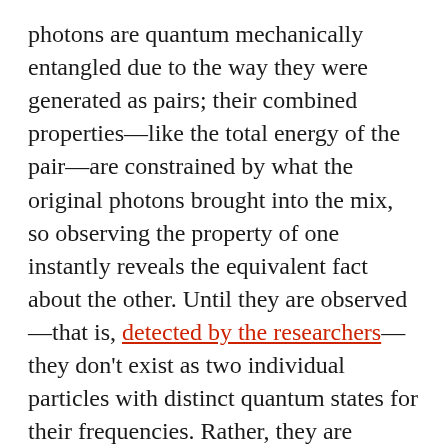photons are quantum mechanically entangled due to the way they were generated as pairs; their combined properties—like the total energy of the pair—are constrained by what the original photons brought into the mix, so observing the property of one instantly reveals the equivalent fact about the other. Until they are observed—that is, detected by the researchers—they don't exist as two individual particles with distinct quantum states for their frequencies. Rather, they are identical mixtures of possible frequency states called a superposition. The two photons being indistinguishable means they can quantum mechanically interfere with each other.
The resulting combination of being indistinguishable and photons being essential for...